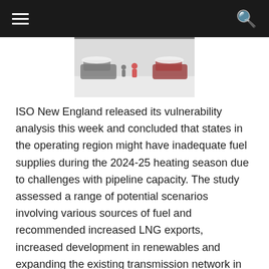navigation header with hamburger menu and search icon
[Figure (photo): Snowy outdoor scene with snow-covered cars and people in winter clothing]
ISO New England released its vulnerability analysis this week and concluded that states in the operating region might have inadequate fuel supplies during the 2024-25 heating season due to challenges with pipeline capacity. The study assessed a range of potential scenarios involving various sources of fuel and recommended increased LNG exports, increased development in renewables and expanding the existing transmission network in order to import electricity from surrounding regions.  ISO New England currently relies on a mixture of approximately 49 percent natural gas, 31 percent nuclear, 10 percent renewables, 7 percent hydro, 2 percent coal, and less than one percent oil.